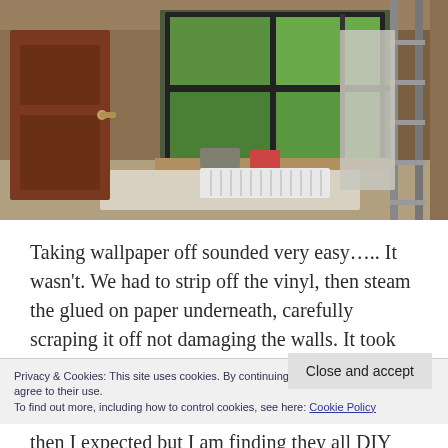[Figure (photo): Interior renovation photo showing a room under renovation with scaffolding/ladder on the right, a large window with black frames showing trees/greenery outside, a brown wooden door on the left, white radiator under the window, tools and materials on the windowsill, and dust sheets on the floor.]
Taking wallpaper off sounded very easy….. It wasn't. We had to strip off the vinyl, then steam the glued on paper underneath, carefully scraping it off not damaging the walls. It took me a while to get
Privacy & Cookies: This site uses cookies. By continuing to use this website, you agree to their use.
To find out more, including how to control cookies, see here: Cookie Policy
then I expected but I am finding they all DIY takes